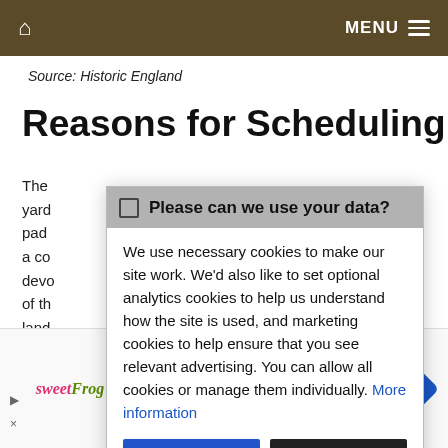MENU
Source: Historic England
Reasons for Scheduling
The ... yard ... pad ... a co ... devo ... of th ... land ... toda ... pro...
⬜ Please can we use your data?

We use necessary cookies to make our site work. We'd also like to set optional analytics cookies to help us understand how the site is used, and marketing cookies to help ensure that you see relevant advertising. You can allow all cookies or manage them individually. More information
[Figure (screenshot): Advertisement for sweetFrog frozen yogurt with logo, text 'Treat yourself with some froyo', and navigation icon]